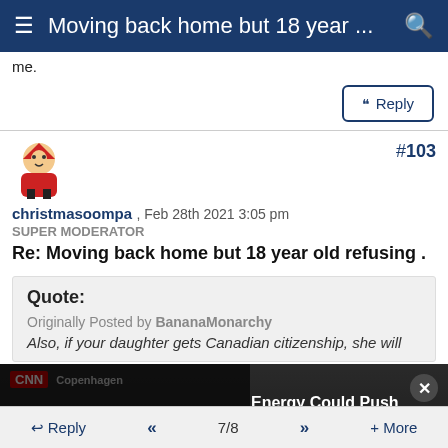Moving back home but 18 year ...
me.
Reply
#103
christmasoompa , Feb 28th 2021 3:05 pm
SUPER MODERATOR
Re: Moving back home but 18 year old refusing .
Quote:
Originally Posted by BananaMonarchy
Also, if your daughter gets Canadian citizenship, she will
[Figure (screenshot): Media player error overlay on a financial news video. Error message: 'The media could not be loaded, either because the server or network failed or because the format is not supported.' Right side shows text: 'Energy Could Push Euro to 0.90, Says Saxo Bank's Hardy'. Red breaking news bar at bottom reads 'BREAKING NEWS FRANCE AUG. MANUFACTURING PMI 46 FORECAST 49'.]
Reply  <<  7/8  >>  + More